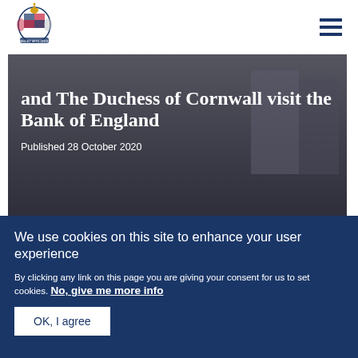The Prince of Wales and The Duchess of Cornwall visit the Bank of England
[Figure (photo): Hero image with overlaid title text: 'The Prince of Wales and The Duchess of Cornwall visit the Bank of England' and date 'Published 28 October 2020' on dark background]
[Figure (photo): Secondary photo strip below hero image, showing partial exterior scene]
We use cookies on this site to enhance your user experience
By clicking any link on this page you are giving your consent for us to set cookies. No, give me more info
OK, I agree